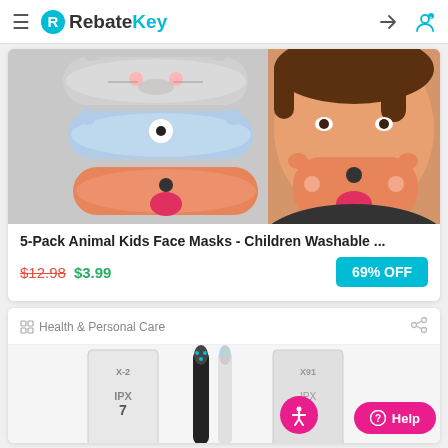RebateKey
[Figure (photo): 5-Pack Animal Kids Face Masks product photo showing 3 animal-themed masks (gray cat, blue bear, orange dog) stacked and a child wearing an orange dog mask]
5-Pack Animal Kids Face Masks - Children Washable ...
$12.98  $3.99  69% OFF
Health & Personal Care
[Figure (photo): Electric toothbrush product photo showing X-2 IPX7 toothbrush with black and white brushes and packaging boxes]